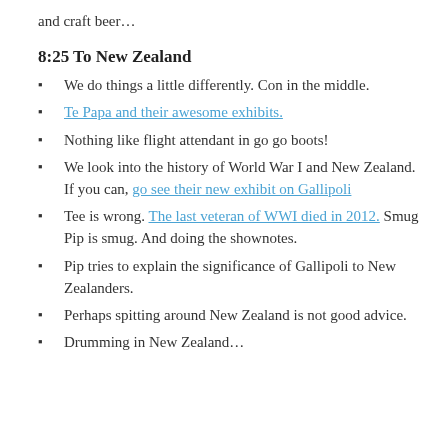and craft beer…
8:25 To New Zealand
We do things a little differently. Con in the middle.
Te Papa and their awesome exhibits.
Nothing like flight attendant in go go boots!
We look into the history of World War I and New Zealand. If you can, go see their new exhibit on Gallipoli
Tee is wrong. The last veteran of WWI died in 2012. Smug Pip is smug. And doing the shownotes.
Pip tries to explain the significance of Gallipoli to New Zealanders.
Perhaps spitting around New Zealand is not good advice.
Drumming in New Zealand…